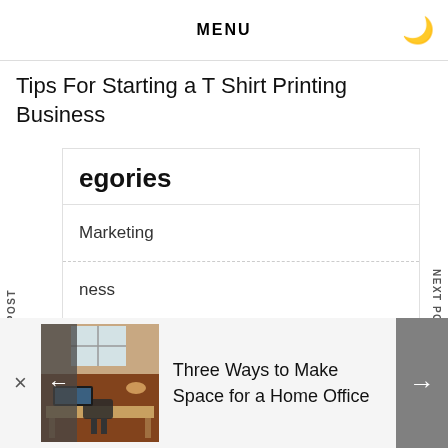MENU
Tips For Starting a T Shirt Printing Business
PREVIOUS POST
NEXT POST
egories
Marketing
ness
Business Ideas
[Figure (photo): Home office with desk, chair, and skylight window]
Three Ways to Make Space for a Home Office